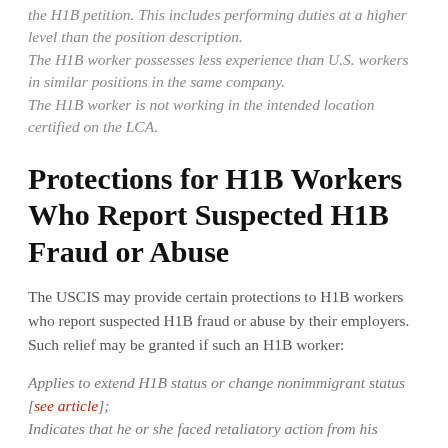the H1B petition. This includes performing duties at a higher level than the position description. The H1B worker possesses less experience than U.S. workers in similar positions in the same company. The H1B worker is not working in the intended location certified on the LCA.
Protections for H1B Workers Who Report Suspected H1B Fraud or Abuse
The USCIS may provide certain protections to H1B workers who report suspected H1B fraud or abuse by their employers. Such relief may be granted if such an H1B worker:
Applies to extend H1B status or change nonimmigrant status [see article];
Indicates that he or she faced retaliatory action from his